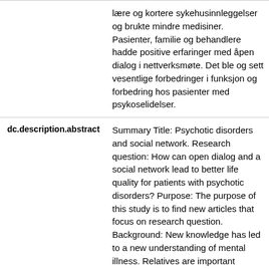| Field | Value |
| --- | --- |
|  | lære og kortere sykehusinnleggelser og brukte mindre medisiner. Pasienter, familie og behandlere hadde positive erfaringer med åpen dialog i nettverksmøte. Det ble og sett vesentlige forbedringer i funksjon og forbedring hos pasienter med psykoselidelser. |
| dc.description.abstract | Summary Title: Psychotic disorders and social network. Research question: How can open dialog and a social network lead to better life quality for patients with psychotic disorders? Purpose: The purpose of this study is to find new articles that focus on research question. Background: New knowledge has led to a new understanding of mental illness. Relatives are important supporters for patients with psychotic disorders. In Finland, a new relational approach has been developed; Open dialog in network meetings. By using this approach patients, persons from the network, and therapists meet on the same level. Thr... |